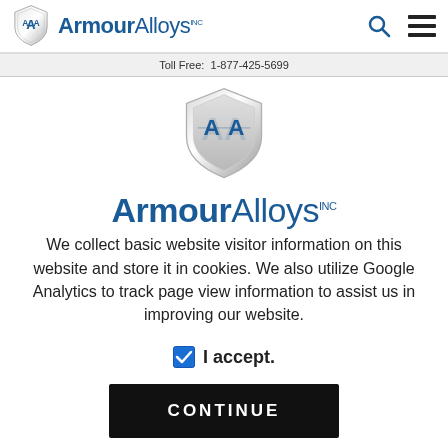ArmourAlloys INC — Toll Free: 1-877-425-5699
[Figure (logo): ArmourAlloys shield logo centered, silver shield with AA monogram in blue]
ArmourAlloys INC
We collect basic website visitor information on this website and store it in cookies. We also utilize Google Analytics to track page view information to assist us in improving our website.
I accept.
CONTINUE